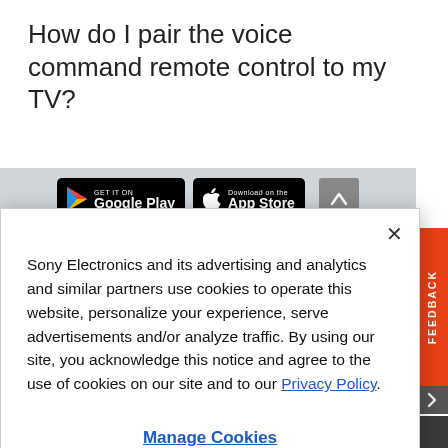How do I pair the voice command remote control to my TV?
[Figure (screenshot): Google Play and App Store download badges on a gray background bar]
Sony Electronics and its advertising and analytics and similar partners use cookies to operate this website, personalize your experience, serve advertisements and/or analyze traffic. By using our site, you acknowledge this notice and agree to the use of cookies on our site and to our Privacy Policy.
Manage Cookies
United States